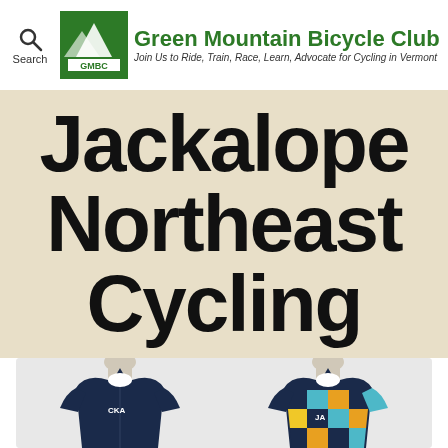Green Mountain Bicycle Club — Join Us to Ride, Train, Race, Learn, Advocate for Cycling in Vermont
Jackalope Northeast Cycling
[Figure (photo): Two cycling jerseys displayed on mannequin busts: left jersey is solid navy blue, right jersey features a colorful geometric grid pattern in cyan, orange, yellow, and blue on a navy base.]